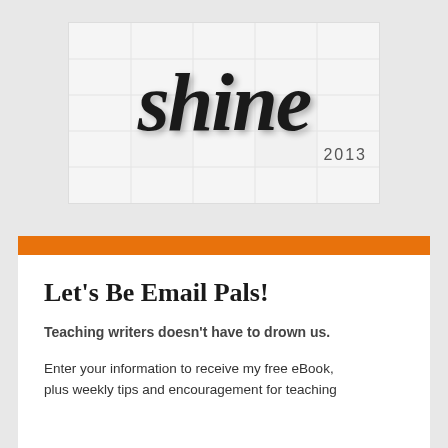[Figure (logo): Cursive/script logo reading 'shine' in large black handwritten font with '2013' below right, on a light background with faint grid/calendar lines]
Let's Be Email Pals!
Teaching writers doesn't have to drown us.
Enter your information to receive my free eBook, plus weekly tips and encouragement for teaching